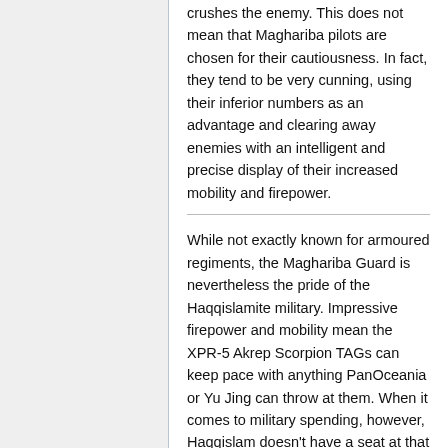crushes the enemy. This does not mean that Maghariba pilots are chosen for their cautiousness. In fact, they tend to be very cunning, using their inferior numbers as an advantage and clearing away enemies with an intelligent and precise display of their increased mobility and firepower.
While not exactly known for armoured regiments, the Maghariba Guard is nevertheless the pride of the Haqqislamite military. Impressive firepower and mobility mean the XPR-5 Akrep Scorpion TAGs can keep pace with anything PanOceania or Yu Jing can throw at them. When it comes to military spending, however, Haqqislam doesn't have a seat at that table. Always outnumbered, and often out- gunned, the